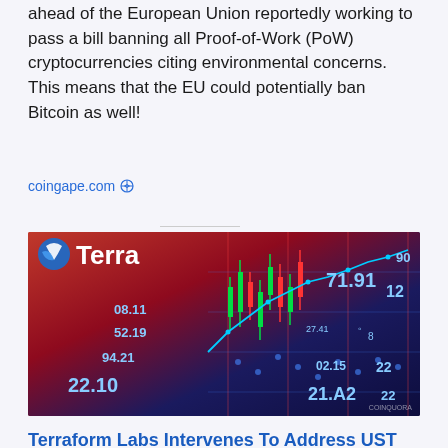ahead of the European Union reportedly working to pass a bill banning all Proof-of-Work (PoW) cryptocurrencies citing environmental concerns. This means that the EU could potentially ban Bitcoin as well!
coingape.com 🔗
[Figure (photo): Terra logo overlaid on a financial trading screen showing candlestick charts, world map data visualization, with blue/red color scheme and numbers including 08.11, 52.19, 94.21, 22.10, 71.91, 21.A2, 02.15]
Terraform Labs Intervenes To Address UST Reserve Imbalance
The are reportedly looking for UST by...